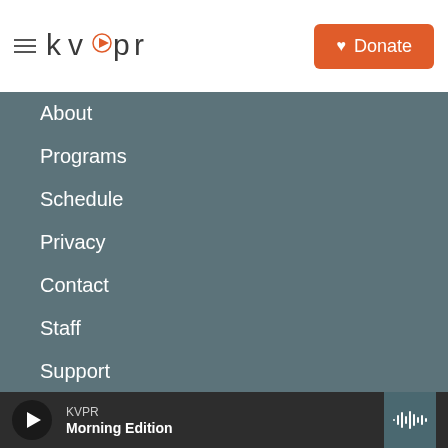KVPR — Donate
About
Programs
Schedule
Privacy
Contact
Staff
Support
Sponsorships
KVPR Morning Edition